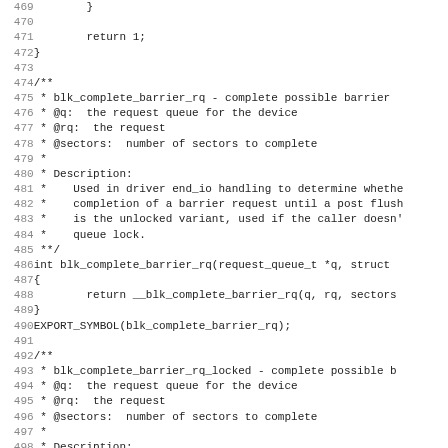Source code listing lines 469-501, showing C kernel block layer barrier request completion functions.